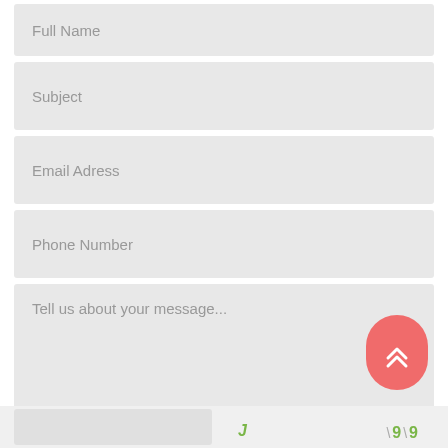Full Name
Subject
Email Adress
Phone Number
Tell us about your message...
[Figure (other): Red rounded floating action button with double chevron up arrows]
J  9  9